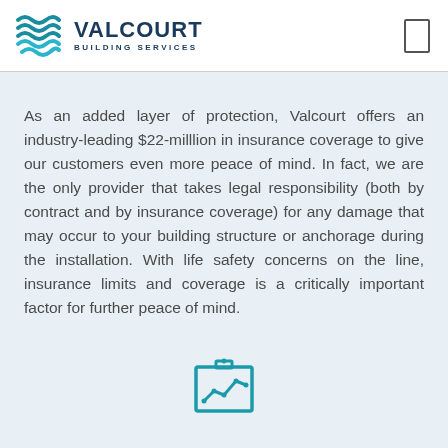VALCOURT BUILDING SERVICES
As an added layer of protection, Valcourt offers an industry-leading $22-milllion in insurance coverage to give our customers even more peace of mind. In fact, we are the only provider that takes legal responsibility (both by contract and by insurance coverage) for any damage that may occur to your building structure or anchorage during the installation. With life safety concerns on the line, insurance limits and coverage is a critically important factor for further peace of mind.
[Figure (illustration): Teal icon of a presentation board/chart with a line graph on it]